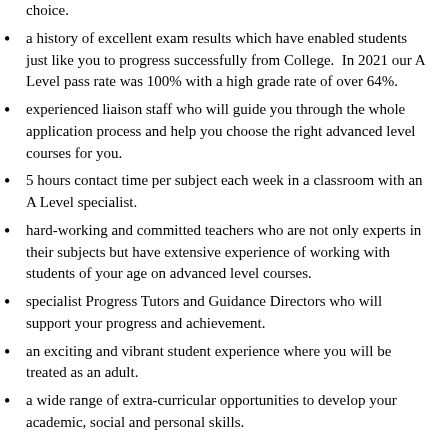choice.
a history of excellent exam results which have enabled students just like you to progress successfully from College.  In 2021 our A Level pass rate was 100% with a high grade rate of over 64%.
experienced liaison staff who will guide you through the whole application process and help you choose the right advanced level courses for you.
5 hours contact time per subject each week in a classroom with an A Level specialist.
hard-working and committed teachers who are not only experts in their subjects but have extensive experience of working with students of your age on advanced level courses.
specialist Progress Tutors and Guidance Directors who will support your progress and achievement.
an exciting and vibrant student experience where you will be treated as an adult.
a wide range of extra-curricular opportunities to develop your academic, social and personal skills.